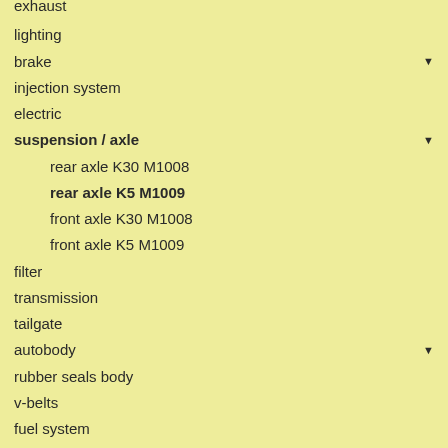exhaust (partially visible)
lighting
brake
injection system
electric
suspension / axle
rear axle K30 M1008
rear axle K5 M1009
front axle K30 M1008
front axle K5 M1009
filter
transmission
tailgate
autobody
rubber seals body
v-belts
fuel system
cooling / heating
steering